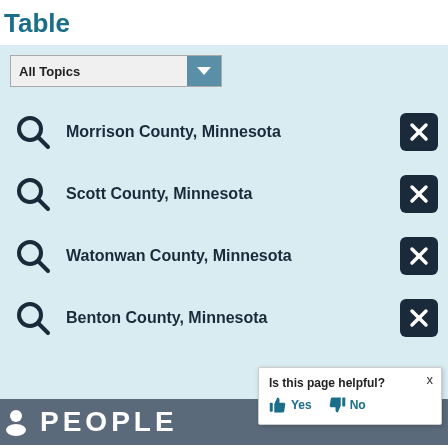Table
Morrison County, Minnesota
Scott County, Minnesota
Watonwan County, Minnesota
Benton County, Minnesota
PEOPLE